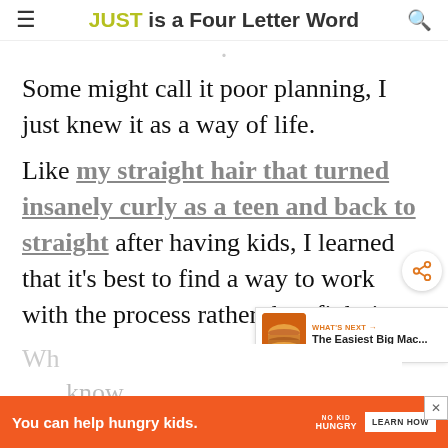JUST is a Four Letter Word
Some might call it poor planning, I just knew it as a way of life.
Like my straight hair that turned insanely curly as a teen and back to straight after having kids, I learned that it’s best to find a way to work with the process rather than fight it.
[Figure (screenshot): What’s Next widget showing a burger image and text: The Easiest Big Mac...]
Wh... know wh...
[Figure (infographic): Orange ad banner: You can help hungry kids. NO KID HUNGRY. LEARN HOW button. Close X button.]